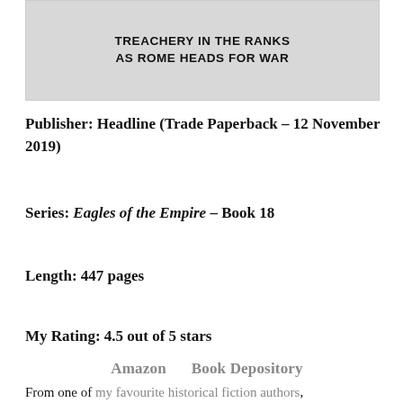[Figure (illustration): Book cover image showing text 'TREACHERY IN THE RANKS AS ROME HEADS FOR WAR' on a dark background]
Publisher: Headline (Trade Paperback – 12 November 2019)
Series: Eagles of the Empire – Book 18
Length: 447 pages
My Rating: 4.5 out of 5 stars
Amazon    Book Depository
From one of my favourite historical fiction authors,